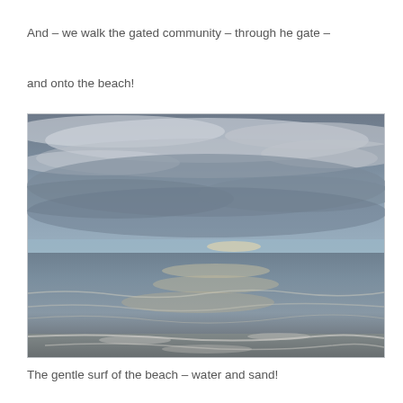And – we walk the gated community – through he gate –
and onto the beach!
[Figure (photo): A beach scene with overcast dramatic cloudy sky, ocean waves washing onto sandy shore, sunlight reflecting on the water surface.]
The gentle surf of the beach – water and sand!